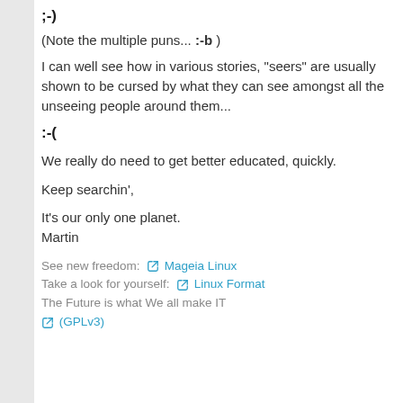;-)
(Note the multiple puns... :-b )
I can well see how in various stories, "seers" are usually shown to be cursed by what they can see amongst all the unseeing people around them...
:-(
We really do need to get better educated, quickly.
Keep searchin',
It's our only one planet.
Martin
See new freedom: 🔗 Mageia Linux
Take a look for yourself: 🔗 Linux Format
The Future is what We all make IT
🔗 (GPLv3)